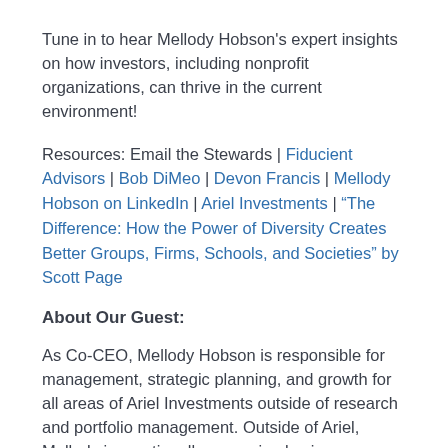Tune in to hear Mellody Hobson's expert insights on how investors, including nonprofit organizations, can thrive in the current environment!
Resources: Email the Stewards | Fiducient Advisors | Bob DiMeo | Devon Francis | Mellody Hobson on LinkedIn | Ariel Investments | "The Difference: How the Power of Diversity Creates Better Groups, Firms, Schools, and Societies" by Scott Page
About Our Guest:
As Co-CEO, Mellody Hobson is responsible for management, strategic planning, and growth for all areas of Ariel Investments outside of research and portfolio management. Outside of Ariel, Mellody is a nationally recognized voice on financial literacy. She currently serves as Chair of the Board of Starbucks Corporation and as a director of